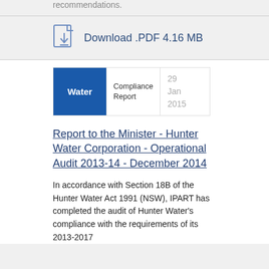recommendations.
Download .PDF 4.16 MB
| Category | Type | Date |
| --- | --- | --- |
| Water | Compliance Report | 29 Jan 2015 |
Report to the Minister - Hunter Water Corporation - Operational Audit 2013-14 - December 2014
In accordance with Section 18B of the Hunter Water Act 1991 (NSW), IPART has completed the audit of Hunter Water's compliance with the requirements of its 2013-2017